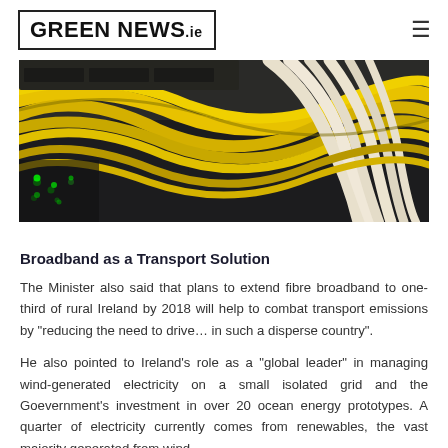GREEN NEWS.ie
[Figure (photo): Close-up photograph of yellow and white fibre optic cables and network equipment in a data centre or server room, with blinking green LED lights visible.]
Broadband as a Transport Solution
The Minister also said that plans to extend fibre broadband to one-third of rural Ireland by 2018 will help to combat transport emissions by "reducing the need to drive… in such a disperse country".
He also pointed to Ireland's role as a "global leader" in managing wind-generated electricity on a small isolated grid and the Goevernment's investment in over 20 ocean energy prototypes. A quarter of electricity currently comes from renewables, the vast majority generated from wind.